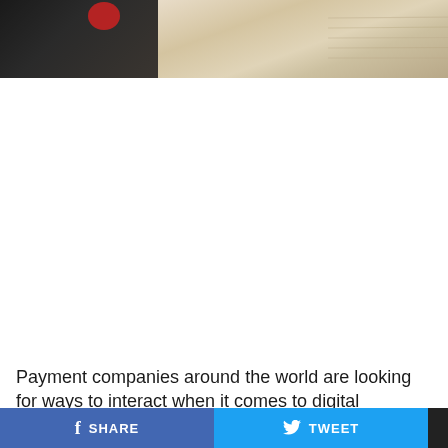[Figure (photo): Partial photo showing a dark object (possibly a phone or card) on the left against a light wood or paper textured background on the right, with a faint red logo visible]
Payment companies around the world are looking for ways to interact when it comes to digital
f SHARE   TWEET